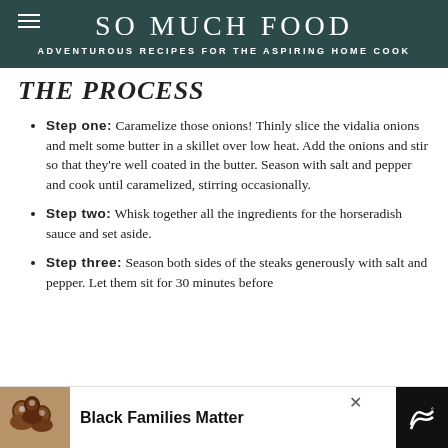SO MUCH FOOD
ADVENTUROUS RECIPES FOR THE ASPIRING HOME COOK
THE PROCESS
Step one: Caramelize those onions! Thinly slice the vidalia onions and melt some butter in a skillet over low heat. Add the onions and stir so that they're well coated in the butter. Season with salt and pepper and cook until caramelized, stirring occasionally.
Step two: Whisk together all the ingredients for the horseradish sauce and set aside.
Step three: Season both sides of the steaks generously with salt and pepper. Let them sit for 30 minutes before
[Figure (photo): Advertisement bar at bottom of page showing a family photo, 'Black Families Matter' text, close button, and a logo]